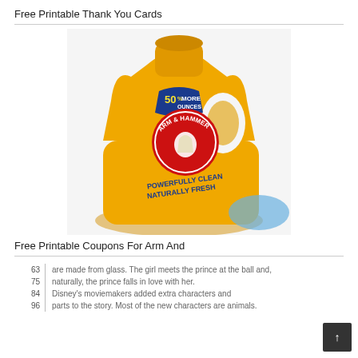Free Printable Thank You Cards
[Figure (photo): Yellow Arm & Hammer laundry detergent bottle with '50% More Ounces' label and 'Powerfully Clean Naturally Fresh' branding]
Free Printable Coupons For Arm And
| 63 | are made from glass. The girl meets the prince at the ball and, |
| 75 | naturally, the prince falls in love with her. |
| 84 | Disney's moviemakers added extra characters and |
| 96 | parts to the story. Most of the new characters are animals. |